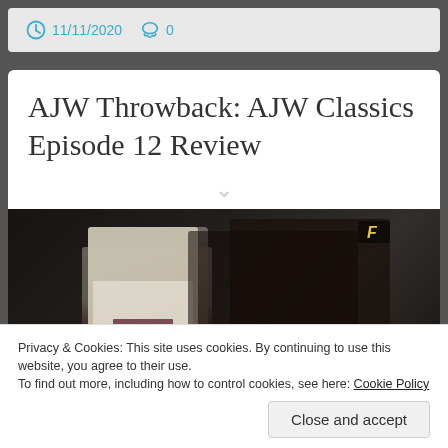11/11/2020  0
AJW Throwback: AJW Classics Episode 12 Review
[Figure (screenshot): Screenshot of a wrestling video/TV broadcast showing a man in a white suit with a red bow tie in the foreground, with other people visible in the background. An 'F' logo is visible in the upper right corner of the image.]
Privacy & Cookies: This site uses cookies. By continuing to use this website, you agree to their use.
To find out more, including how to control cookies, see here: Cookie Policy
Close and accept